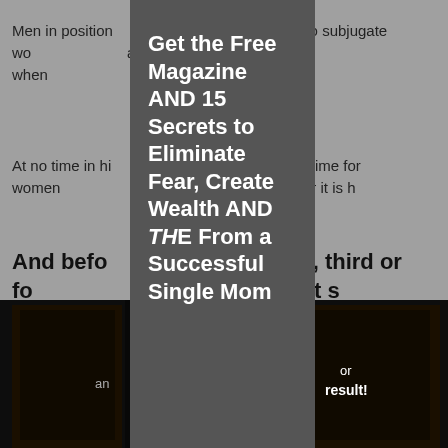Men in position of greatest ability to subjugate women can have lost their jobs when they should steer clear of.
At no time in history can now that it's time for women to rise and speak up – whether it is h[...]
And before second, third or fo[...] first take the first s[...]
[Figure (photo): Dark photo showing two doors in a dim corridor, with partial text 'am' on left side and 'result!' on right side]
[Figure (infographic): Dark grey modal overlay panel with bold white text reading: Get the Free Magazine AND 15 Secrets to Eliminate Fear, Create Wealth AND THE[...] From a Successful Single Mom[...]]